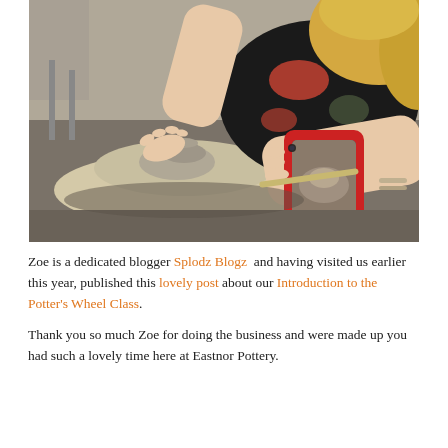[Figure (photo): Person photographing pottery being thrown on a wheel with a smartphone in a red case. The camera on the phone shows the clay being shaped. The person has blonde hair and wears a patterned top and bracelets.]
Zoe is a dedicated blogger Splodz Blogz and having visited us earlier this year, published this lovely post about our Introduction to the Potter's Wheel Class.
Thank you so much Zoe for doing the business and were made up you had such a lovely time here at Eastnor Pottery.